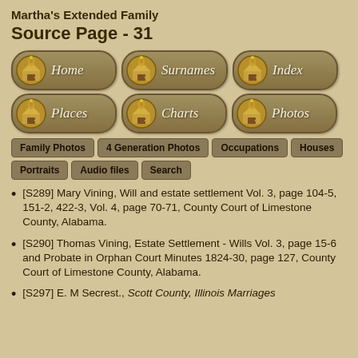Martha's Extended Family
Source Page - 31
[Figure (infographic): Navigation button bar with 6 rounded buttons: Home, Surnames, Index, Places, Charts, Photos — each with a small golden lantern/building icon]
[Figure (infographic): Sub-navigation button bar with: Family Photos, 4 Generation Photos, Occupations, Houses, Portraits, Audio files, Search]
[S289] Mary Vining, Will and estate settlement Vol. 3, page 104-5, 151-2, 422-3, Vol. 4, page 70-71, County Court of Limestone County, Alabama.
[S290] Thomas Vining, Estate Settlement - Wills Vol. 3, page 15-6 and Probate in Orphan Court Minutes 1824-30, page 127, County Court of Limestone County, Alabama.
[S297] E. M Secrest., Scott County, Illinois Marriages